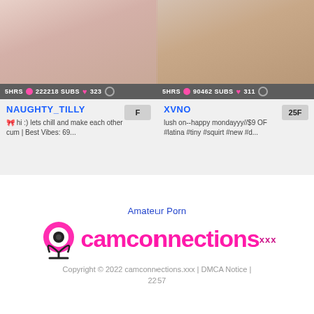[Figure (screenshot): Thumbnail image for NAUGHTY_TILLY webcam stream]
5HRS 222218 SUBS 323
NAUGHTY_TILLY
🎀 hi :) lets chill and make each other cum | Best Vibes: 69...
F
[Figure (screenshot): Thumbnail image for XVNO webcam stream]
5HRS 90462 SUBS 311
XVNO
lush on--happy mondayyy//$9 OF #latina #tiny #squirt #new #d...
25F
Amateur Porn
[Figure (logo): camconnections.xxx logo with microphone icon]
Copyright © 2022 camconnections.xxx | DMCA Notice | 2257